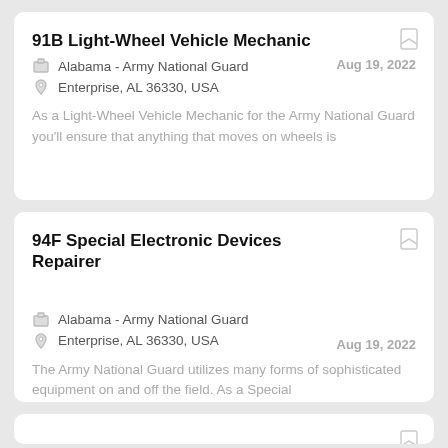91B Light-Wheel Vehicle Mechanic
Alabama - Army National Guard
Enterprise, AL 36330, USA
Aug 19, 2022
As a Light-Wheel Vehicle Mechanic for the Army National Guard you'll ensure that anything that moves on wheels is
94F Special Electronic Devices Repairer
Alabama - Army National Guard
Enterprise, AL 36330, USA
Aug 19, 2022
The Army National Guard utilizes many forms of sophisticated equipment on and off the field. As a Special